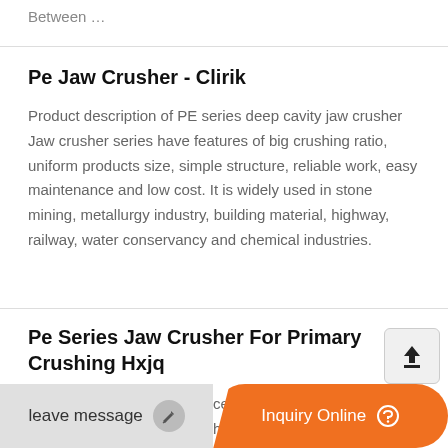Between …
Pe Jaw Crusher - Clirik
Product description of PE series deep cavity jaw crusher Jaw crusher series have features of big crushing ratio, uniform products size, simple structure, reliable work, easy maintenance and low cost. It is widely used in stone mining, metallurgy industry, building material, highway, railway, water conservancy and chemical industries.
Pe Series Jaw Crusher For Primary Crushing Hxjq
The PE jaw crusher can process materials with a side length of 100-500 mm with th…